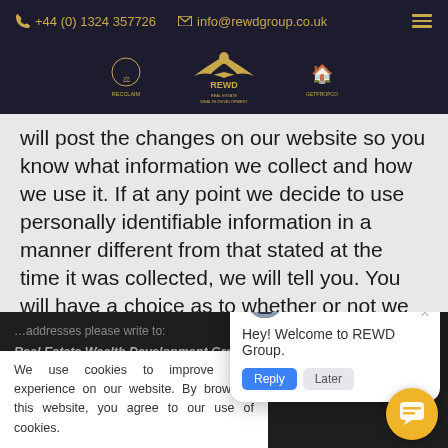+44 (0) 1324 357726   info@rewdgroup.co.uk
[Figure (logo): REWD Group logo bar with three brand icons (RECCLAIM, REWD Real Estate Wealth Development, GETPROPCO) on dark background]
will post the changes on our website so you know what information we collect and how we use it. If at any point we decide to use personally identifiable information in a manner different from that stated at the time it was collected, we will tell you. You will have a choice as to whether or not we are able to use your information in this di...
We use cookies to improve your experience on our website. By browsing this website, you agree to our use of cookies.
...addresses please write to: Real Estate Wealth Development Group Limited, 6 Redheugh... Place, Edinburgh, Scotland, EH14 1DL...
[Figure (screenshot): Chat popup widget with avatar, close button, and message: Hey! Welcome to REWD Group. With blue and grey action buttons below.]